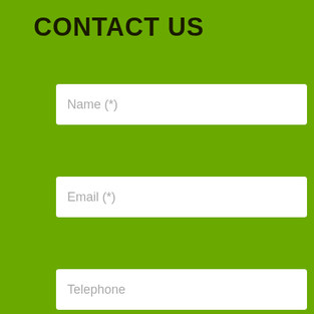CONTACT US
Name (*)
Email (*)
Telephone
Description (*)
We use our own and third-party cookies to facilitate your navigation on the website, learn how you interact with us and collect statistical data. Please read our Cookies Policy to learn more about the cookies we use, their purpose and how to configure or reject them, if you consider it so.
Accept all
Manage Cookies
Reject
QUESTION?
Send